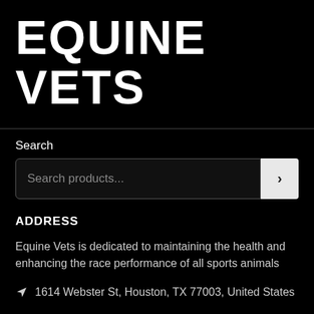EQUINE VETS
Search
Search products...
ADDRESS
Equine Vets is dedicated to maintaining the health and enhancing the race performance of all sports animals
1614 Webster St, Houston, TX 77003, United States